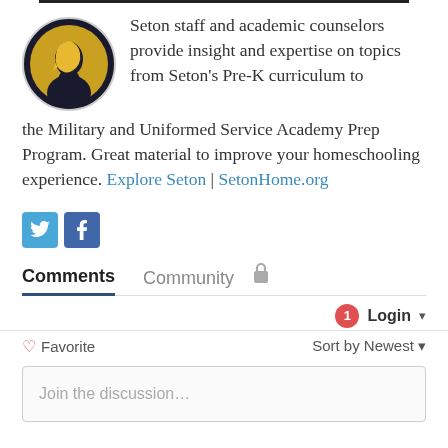[Figure (logo): Seton Home Study School circular logo: dark background with a silhouette profile of a woman in gold/yellow tones]
Seton staff and academic counselors provide insight and expertise on topics from Seton's Pre-K curriculum to the Military and Uniformed Service Academy Prep Program. Great material to improve your homeschooling experience. Explore Seton | SetonHome.org
[Figure (infographic): Social media share buttons: Twitter (blue bird icon) and Facebook (blue f icon)]
Comments  Community
1  Login ▾
♡ Favorite    Sort by Newest ▾
Join the discussion...